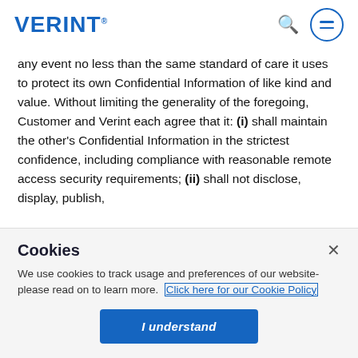VERINT.
any event no less than the same standard of care it uses to protect its own Confidential Information of like kind and value. Without limiting the generality of the foregoing, Customer and Verint each agree that it: (i) shall maintain the other's Confidential Information in the strictest confidence, including compliance with reasonable remote access security requirements; (ii) shall not disclose, display, publish,
Cookies
We use cookies to track usage and preferences of our website- please read on to learn more. Click here for our Cookie Policy
I understand